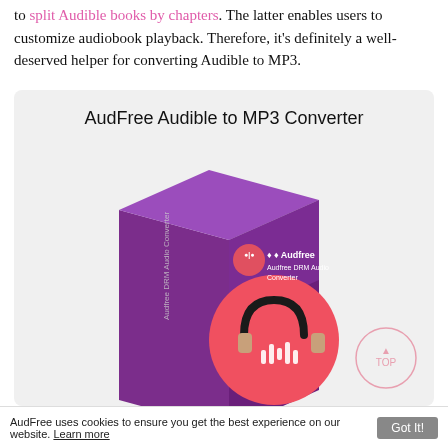to split Audible books by chapters. The latter enables users to customize audiobook playback. Therefore, it's definitely a well-deserved helper for converting Audible to MP3.
[Figure (illustration): AudFree Audible to MP3 Converter product box showing a purple software box with Audfree DRM Audio Converter label and a coral/pink circle with headphones and audio waveform icon. A 'TOP' circle button appears in the bottom right of the product card area.]
AudFree uses cookies to ensure you get the best experience on our website. Learn more Got It!